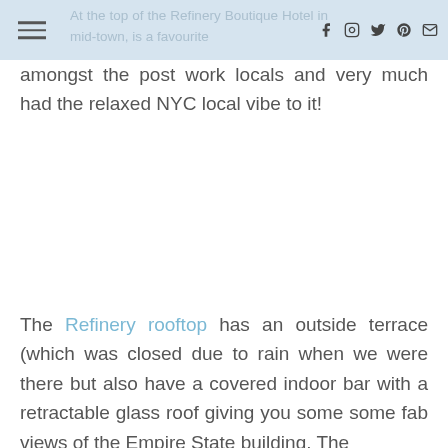At the top of the Refinery Boutique Hotel in mid-town, is a favourite
amongst the post work locals and very much had the relaxed NYC local vibe to it!
The Refinery rooftop has an outside terrace (which was closed due to rain when we were there but also have a covered indoor bar with a retractable glass roof giving you some some fab views of the Empire State building. The